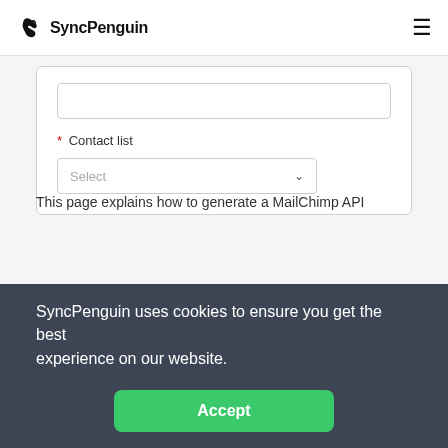SyncPenguin
[Figure (screenshot): Web form with an empty text input field and a 'Contact list' dropdown selector showing placeholder 'Select']
This page explains how to generate a MailChimp API
SyncPenguin uses cookies to ensure you get the best experience on our website.
Accept